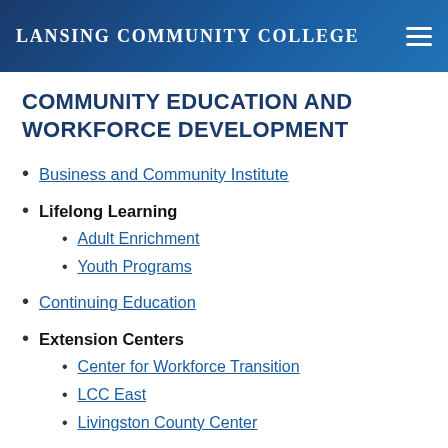LANSING COMMUNITY COLLEGE
COMMUNITY EDUCATION AND WORKFORCE DEVELOPMENT
Business and Community Institute
Lifelong Learning
Adult Enrichment
Youth Programs
Continuing Education
Extension Centers
Center for Workforce Transition
LCC East
Livingston County Center